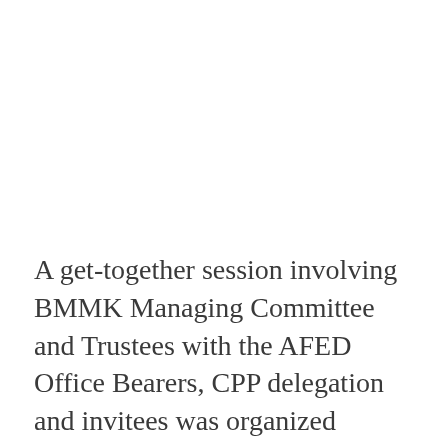A get-together session involving BMMK Managing Committee and Trustees with the AFED Office Bearers, CPP delegation and invitees was organized